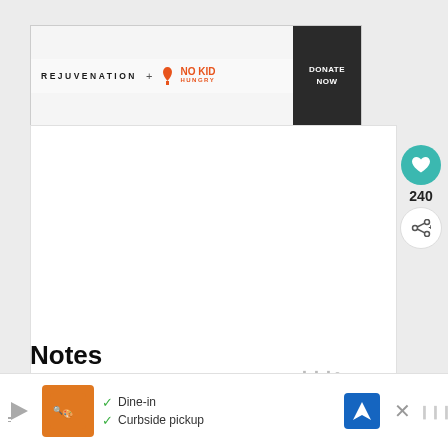[Figure (screenshot): Advertisement banner for Rejuvenation + No Kid Hungry charity with DONATE NOW button]
[Figure (screenshot): Embedded video or image content with Whisk watermark logo, heart/like button showing 240 likes, and share button]
Notes
If you prefer your frosting a little sweeter you can increase sugar by 1-3 tablespoons until it reaches desired sweetness.
[Figure (screenshot): What's Next panel showing Spice Cupcakes with thumbnail image]
[Figure (screenshot): Bottom advertisement bar with Dine-in and Curbside pickup options, navigation icon and X close button]